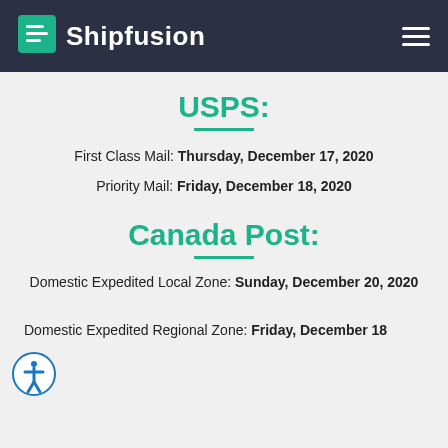Shipfusion
USPS:
First Class Mail: Thursday, December 17, 2020
Priority Mail: Friday, December 18, 2020
Canada Post:
Domestic Expedited Local Zone: Sunday, December 20, 2020
Domestic Expedited Regional Zone: Friday, December 18